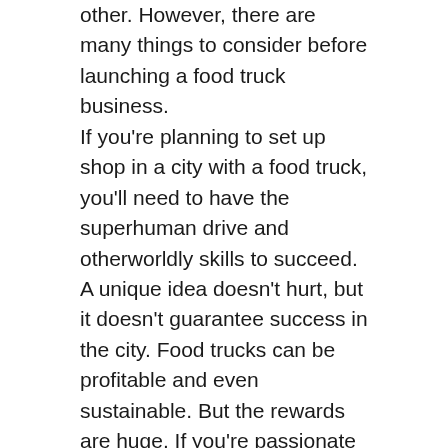other. However, there are many things to consider before launching a food truck business. If you're planning to set up shop in a city with a food truck, you'll need to have the superhuman drive and otherworldly skills to succeed. A unique idea doesn't hurt, but it doesn't guarantee success in the city. Food trucks can be profitable and even sustainable. But the rewards are huge. If you're passionate about food and love to travel, a food truck business might be the right choice for you. There are food trucks that serve hearty, central Chinese cuisine. You can even order food online before your arrival so you won't be stranded in a queue. If you can't find the right truck to serve you, try a night market or a street fair in the city. You're sure to find a favorite among the food trucks in your area! Food trucks have come a long way since the days when they sold greasy, plastic-wrapped sandwiches and mediocre coffee. Nowadays, they offer gourmet burgers...